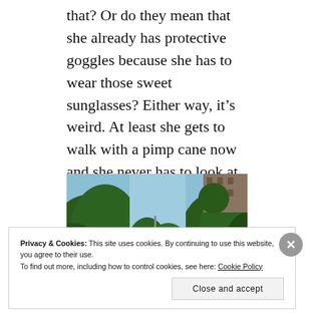that? Or do they mean that she already has protective goggles because she has to wear those sweet sunglasses? Either way, it's weird. At least she gets to walk with a pimp cane now and she never has to look at how badly she dresses. A win/win really.
[Figure (photo): Outdoor street-level photograph looking up at tall green trees with a blue sky background and a brick building visible in the upper right corner.]
Privacy & Cookies: This site uses cookies. By continuing to use this website, you agree to their use.
To find out more, including how to control cookies, see here: Cookie Policy